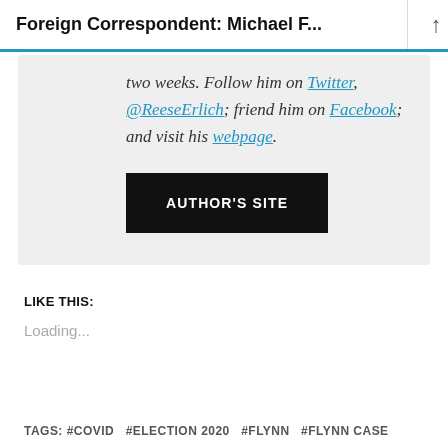Foreign Correspondent: Michael F...
two weeks. Follow him on Twitter, @ReeseErlich; friend him on Facebook; and visit his webpage.
AUTHOR'S SITE
LIKE THIS:
Loading...
TAGS: #COVID  #ELECTION 2020  #FLYNN  #FLYNN CASE